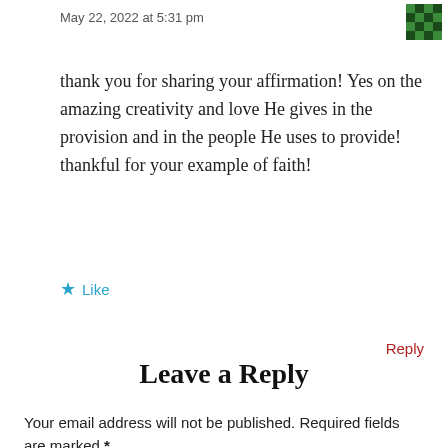May 22, 2022 at 5:31 pm
thank you for sharing your affirmation! Yes on the amazing creativity and love He gives in the provision and in the people He uses to provide! thankful for your example of faith!
★ Like
Reply
Leave a Reply
Your email address will not be published. Required fields are marked *